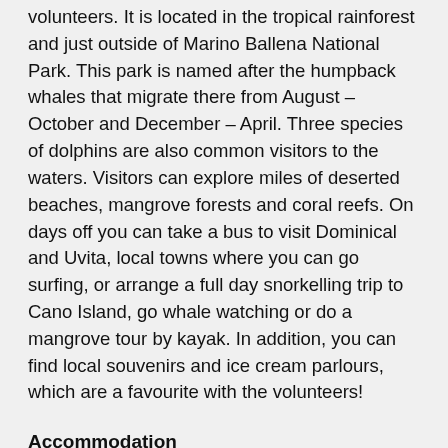volunteers. It is located in the tropical rainforest and just outside of Marino Ballena National Park. This park is named after the humpback whales that migrate there from August – October and December – April. Three species of dolphins are also common visitors to the waters. Visitors can explore miles of deserted beaches, mangrove forests and coral reefs. On days off you can take a bus to visit Dominical and Uvita, local towns where you can go surfing, or arrange a full day snorkelling trip to Cano Island, go whale watching or do a mangrove tour by kayak. In addition, you can find local souvenirs and ice cream parlours, which are a favourite with the volunteers!
Accommodation
Conservation volunteers live at the research centre – the property itself is on 42 hectares of reserve which borders the Pacific ocean and the Terraba. The facilities currently hold 15 people in the main centre, in addition to a private residence used for conferences and training. Facilities are of high quality. Volunteers live in large, spacious and clean rooms, all have fans and new orthopaedic mattresses. You also get free